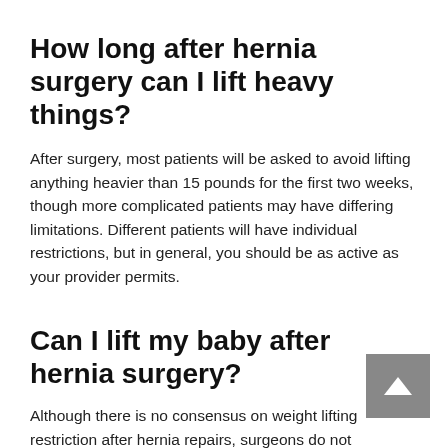How long after hernia surgery can I lift heavy things?
After surgery, most patients will be asked to avoid lifting anything heavier than 15 pounds for the first two weeks, though more complicated patients may have differing limitations. Different patients will have individual restrictions, but in general, you should be as active as your provider permits.
Can I lift my baby after hernia surgery?
Although there is no consensus on weight lifting restriction after hernia repairs, surgeons do not